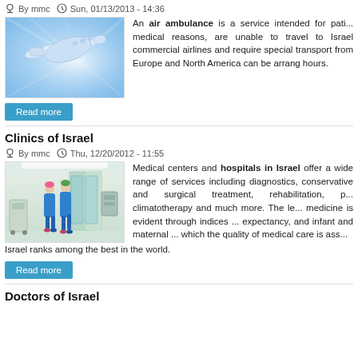By mmc  Sun, 01/13/2013 - 14:36
[Figure (photo): Airplane in blue sky, representing air ambulance service]
An air ambulance is a service intended for patients who, for medical reasons, are unable to travel to Israel on board commercial airlines and require special transport. Flights from Europe and North America can be arranged within hours.
Read more
Clinics of Israel
By mmc  Thu, 12/20/2012 - 11:55
[Figure (photo): Hospital corridor with medical staff in blue scrubs]
Medical centers and hospitals in Israel offer a wide range of services including diagnostics, conservative and surgical treatment, rehabilitation, physiotherapy, climatotherapy and much more. The level of Israeli medicine is evident through indices such as life expectancy, and infant and maternal mortality by which the quality of medical care is assessed. Israel ranks among the best in the world.
Read more
Doctors of Israel